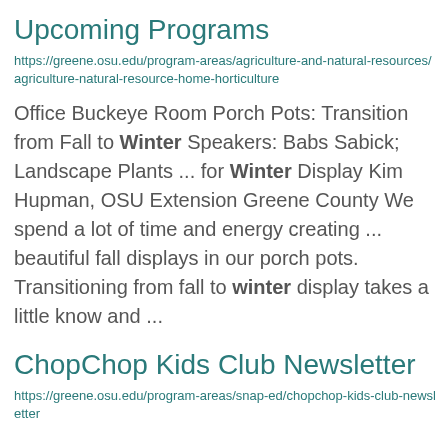Upcoming Programs
https://greene.osu.edu/program-areas/agriculture-and-natural-resources/agriculture-natural-resource-home-horticulture
Office Buckeye Room Porch Pots: Transition from Fall to Winter Speakers: Babs Sabick; Landscape Plants ... for Winter Display Kim Hupman, OSU Extension Greene County We spend a lot of time and energy creating ... beautiful fall displays in our porch pots. Transitioning from fall to winter display takes a little know and ...
ChopChop Kids Club Newsletter
https://greene.osu.edu/program-areas/snap-ed/chopchop-kids-club-newsletter